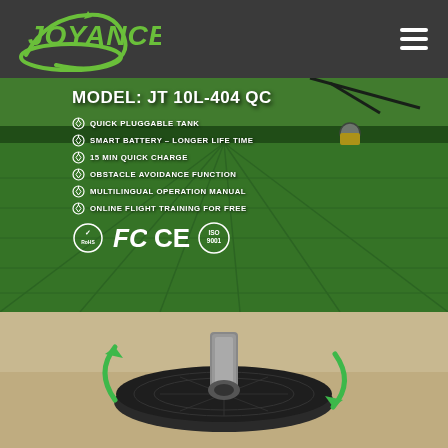JOYANCE
[Figure (photo): Agricultural drone spraying over green rice paddy fields with model information overlay: MODEL: JT 10L-404 QC, features: QUICK PLUGGABLE TANK, SMART BATTERY- LONGER LIFE TIME, 15 MIN QUICK CHARGE, OBSTACLE AVOIDANCE FUNCTION, MULTILINGUAL OPERATION MANUAL, ONLINE FLIGHT TRAINING FOR FREE, with RoHS, FCC, CE, ISO 9001 certification badges]
[Figure (photo): Close-up of drone tank quick-release mechanism showing circular black disc with green rotation arrows indicating quick pluggable tank feature]